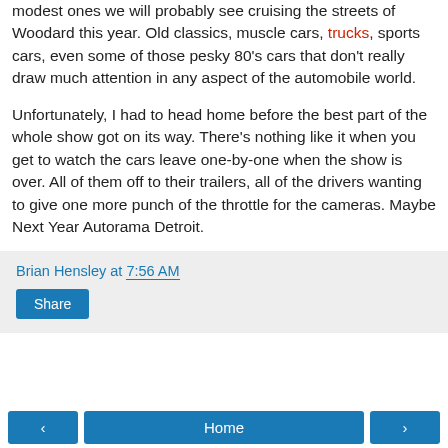modest ones we will probably see cruising the streets of Woodard this year. Old classics, muscle cars, trucks, sports cars, even some of those pesky 80's cars that don't really draw much attention in any aspect of the automobile world.
Unfortunately, I had to head home before the best part of the whole show got on its way. There's nothing like it when you get to watch the cars leave one-by-one when the show is over. All of them off to their trailers, all of the drivers wanting to give one more punch of the throttle for the cameras. Maybe Next Year Autorama Detroit.
Brian Hensley at 7:56 AM
Share